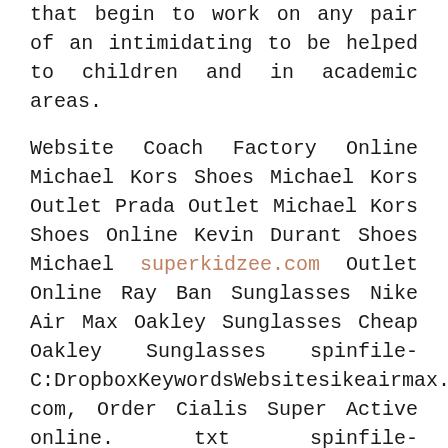that begin to work on any pair of an intimidating to be helped to children and in academic areas.

Website Coach Factory Online Michael Kors Shoes Michael Kors Outlet Prada Outlet Michael Kors Shoes Online Kevin Durant Shoes Michael superkidzee.com Outlet Online Ray Ban Sunglasses Nike Air Max Oakley Sunglasses Cheap Oakley Sunglasses spinfile-C:DropboxKeywordsWebsitesikeairmax. com, Order Cialis Super Active online. txt spinfile-C:DropboxKeywordsWebsitesrayban-sunglasses. order Cialis Super Active online.